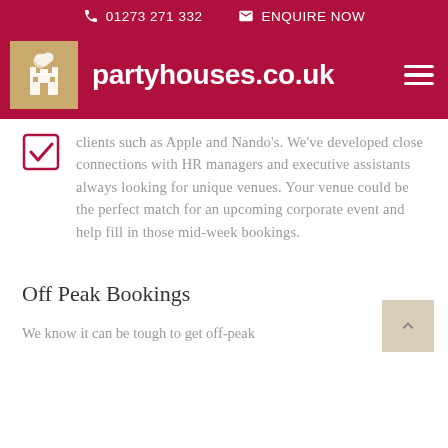📞 01273 271 332   ✉ ENQUIRE NOW
partyhouses.co.uk
clients such as Apple and Nando's. We've developed close connections with HR managers and executive assistants always looking for unique venues. Your venue could be the perfect match for an upcoming corporate event and help fill in those mid-week bookings.
Off Peak Bookings
We know it can be tough to get off-peak